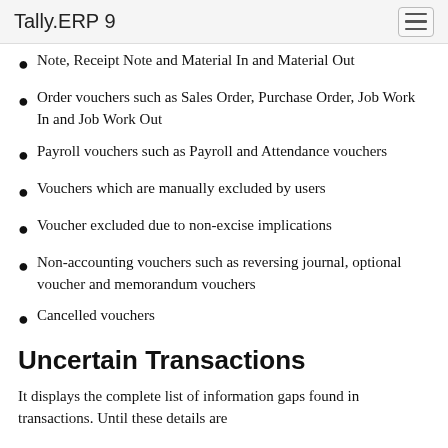Tally.ERP 9
Note, Receipt Note and Material In and Material Out
Order vouchers such as Sales Order, Purchase Order, Job Work In and Job Work Out
Payroll vouchers such as Payroll and Attendance vouchers
Vouchers which are manually excluded by users
Voucher excluded due to non-excise implications
Non-accounting vouchers such as reversing journal, optional voucher and memorandum vouchers
Cancelled vouchers
Uncertain Transactions
It displays the complete list of information gaps found in transactions. Until these details are